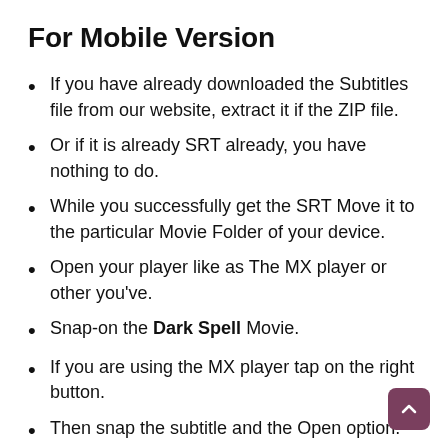For Mobile Version
If you have already downloaded the Subtitles file from our website, extract it if the ZIP file.
Or if it is already SRT already, you have nothing to do.
While you successfully get the SRT Move it to the particular Movie Folder of your device.
Open your player like as The MX player or other you've.
Snap-on the Dark Spell Movie.
If you are using the MX player tap on the right button.
Then snap the subtitle and the Open option.
Go and tap the Dark Spell subtitle STR. Then you will start enjoying the subtitles on your player.